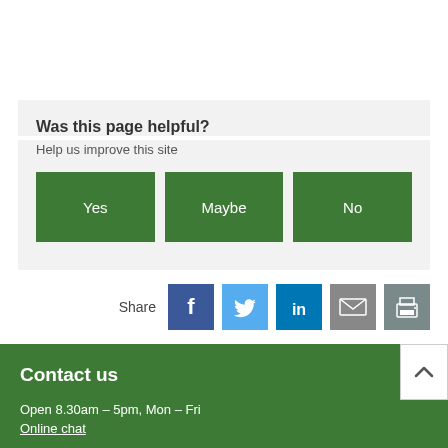Was this page helpful?
Help us improve this site
Yes | Maybe | No
Share
Contact us
Open 8.30am – 5pm, Mon – Fri
Online chat